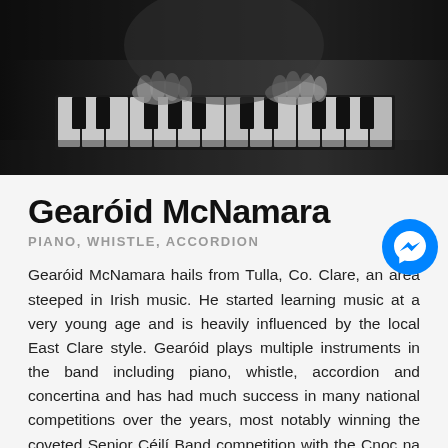[Figure (photo): Black and white photograph of a person playing piano, hands visible on the keys, dark moody lighting]
Gearóid McNamara
PIANO, WHISTLE, ACCORDION
Gearóid McNamara hails from Tulla, Co. Clare, an area steeped in Irish music. He started learning music at a very young age and is heavily influenced by the local East Clare style. Gearóid plays multiple instruments in the band including piano, whistle, accordion and concertina and has had much success in many national competitions over the years, most notably winning the coveted Senior Céilí Band competition with the Cnoc na Gaoithe Céilí Band at